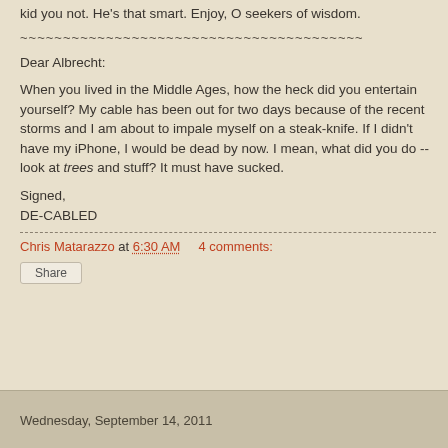kid you not. He's that smart. Enjoy, O seekers of wisdom.
~~~~~~~~~~~~~~~~~~~~~~~~~~~~~~~~~~~~~~~~
Dear Albrecht:
When you lived in the Middle Ages, how the heck did you entertain yourself? My cable has been out for two days because of the recent storms and I am about to impale myself on a steak-knife. If I didn't have my iPhone, I would be dead by now. I mean, what did you do -- look at trees and stuff? It must have sucked.
Signed,
DE-CABLED
Chris Matarazzo at 6:30 AM    4 comments:
Share
Wednesday, September 14, 2011